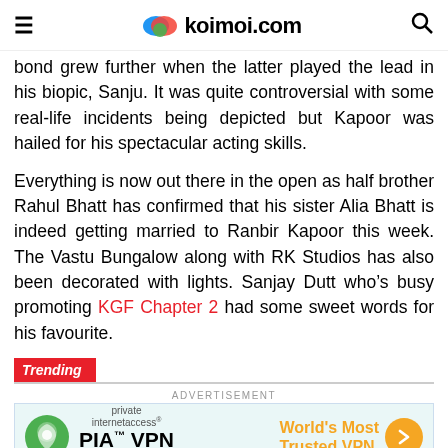koimoi.com
bond grew further when the latter played the lead in his biopic, Sanju. It was quite controversial with some real-life incidents being depicted but Kapoor was hailed for his spectacular acting skills.
Everything is now out there in the open as half brother Rahul Bhatt has confirmed that his sister Alia Bhatt is indeed getting married to Ranbir Kapoor this week. The Vastu Bungalow along with RK Studios has also been decorated with lights. Sanjay Dutt who’s busy promoting KGF Chapter 2 had some sweet words for his favourite.
Trending
[Figure (infographic): PIA VPN advertisement banner with green shield icon, PIA TM VPN Official Site text, World's Most Trusted VPN tagline, and orange arrow button]